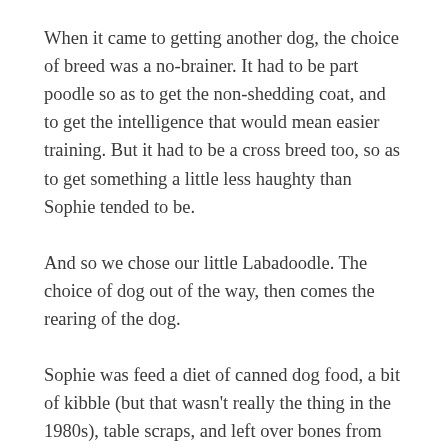When it came to getting another dog, the choice of breed was a no-brainer. It had to be part poodle so as to get the non-shedding coat, and to get the intelligence that would mean easier training. But it had to be a cross breed too, so as to get something a little less haughty than Sophie tended to be.
And so we chose our little Labadoodle. The choice of dog out of the way, then comes the rearing of the dog.
Sophie was feed a diet of canned dog food, a bit of kibble (but that wasn't really the thing in the 1980s), table scraps, and left over bones from any cooked legs of lamb. We knew cooked chicken bones could be dangerous for her, but never-the-less she managed to survive many a bin raid devouring the remaining carcass of any roast chicken dinners. She was a brat for managing to open the kitchen